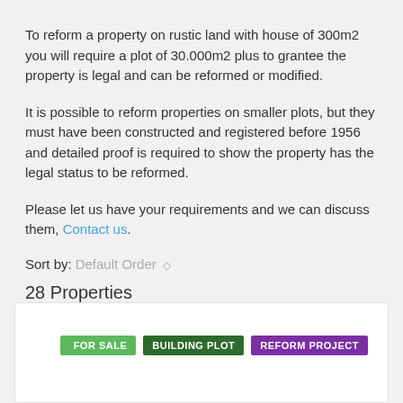To reform a property on rustic land with house of 300m2 you will require a plot of 30.000m2 plus to grantee the property is legal and can be reformed or modified.
It is possible to reform properties on smaller plots, but they must have been constructed and registered before 1956 and detailed proof is required to show the property has the legal status to be reformed.
Please let us have your requirements and we can discuss them, Contact us.
Sort by: Default Order
28 Properties